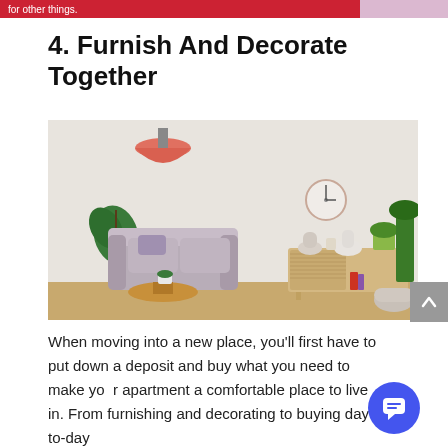for other things.
4. Furnish And Decorate Together
[Figure (photo): A modern living room interior with a pink pendant lamp, a grey sofa, monstera plant, small wooden coffee table with a plant, a wall clock, and a wooden sideboard with decorative plants and jars against a light beige wall with wooden floor.]
When moving into a new place, you'll first have to put down a deposit and buy what you need to make your apartment a comfortable place to live in. From furnishing and decorating to buying day-to-day